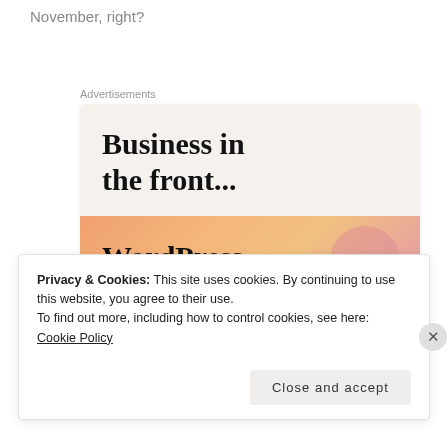November, right?
Advertisements
[Figure (illustration): Advertisement banner showing 'Business in the front...' on a light beige background top section, and 'WordPress in the back.' on a colorful gradient orange-pink-purple background bottom section with decorative circles.]
Privacy & Cookies: This site uses cookies. By continuing to use this website, you agree to their use.
To find out more, including how to control cookies, see here: Cookie Policy
Close and accept